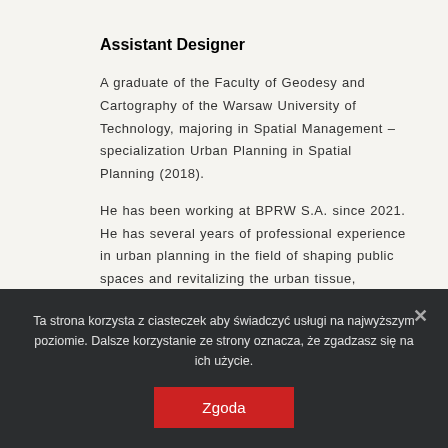Assistant Designer
A graduate of the Faculty of Geodesy and Cartography of the Warsaw University of Technology, majoring in Spatial Management – specialization Urban Planning in Spatial Planning (2018).
He has been working at BPRW S.A. since 2021. He has several years of professional experience in urban planning in the field of shaping public spaces and revitalizing the urban tissue, previously acquired in a private architectural and urban planning office. Co-author of urban and environmental studies, land development…
Ta strona korzysta z ciasteczek aby świadczyć usługi na najwyższym poziomie. Dalsze korzystanie ze strony oznacza, że zgadzasz się na ich użycie.